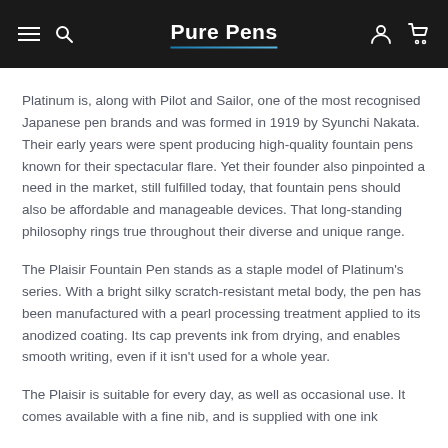Pure Pens
Platinum is, along with Pilot and Sailor, one of the most recognised Japanese pen brands and was formed in 1919 by Syunchi Nakata. Their early years were spent producing high-quality fountain pens known for their spectacular flare. Yet their founder also pinpointed a need in the market, still fulfilled today, that fountain pens should also be affordable and manageable devices. That long-standing philosophy rings true throughout their diverse and unique range.
The Plaisir Fountain Pen stands as a staple model of Platinum's series. With a bright silky scratch-resistant metal body, the pen has been manufactured with a pearl processing treatment applied to its anodized coating. Its cap prevents ink from drying, and enables smooth writing, even if it isn't used for a whole year.
The Plaisir is suitable for every day, as well as occasional use. It comes available with a fine nib, and is supplied with one ink